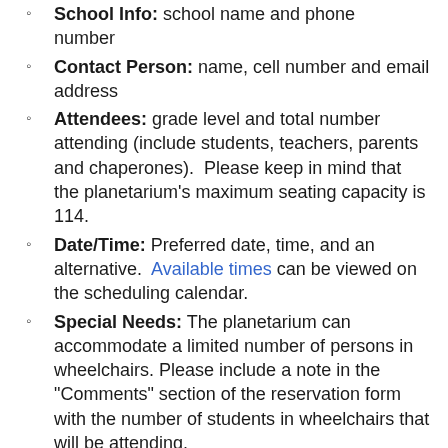School Info: school name and phone number
Contact Person: name, cell number and email address
Attendees: grade level and total number attending (include students, teachers, parents and chaperones). Please keep in mind that the planetarium’s maximum seating capacity is 114.
Date/Time: Preferred date, time, and an alternative. Available times can be viewed on the scheduling calendar.
Special Needs: The planetarium can accommodate a limited number of persons in wheelchairs. Please include a note in the "Comments" section of the reservation form with the number of students in wheelchairs that will be attending.
3. To make a reservation you may use the online reservation form, or contact the planetarium